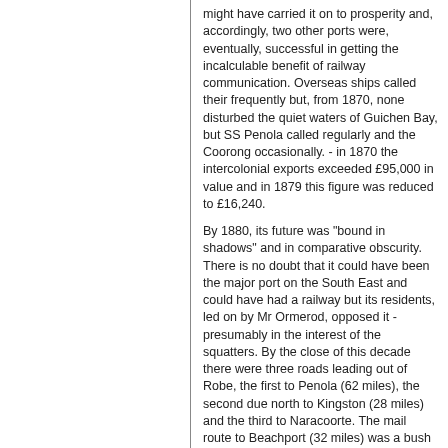might have carried it on to prosperity and, accordingly, two other ports were, eventually, successful in getting the incalculable benefit of railway communication. Overseas ships called their frequently but, from 1870, none disturbed the quiet waters of Guichen Bay, but SS Penola called regularly and the Coorong occasionally. - in 1870 the intercolonial exports exceeded £95,000 in value and in 1879 this figure was reduced to £16,240.
By 1880, its future was "bound in shadows" and in comparative obscurity. There is no doubt that it could have been the major port on the South East and could have had a railway but its residents, led on by Mr Ormerod, opposed it - presumably in the interest of the squatters. By the close of this decade there were three roads leading out of Robe, the first to Penola (62 miles), the second due north to Kingston (28 miles) and the third to Naracoorte. The mail route to Beachport (32 miles) was a bush track for the greater part of the way and was a picturesque drive for the most part alongside or near the lakes - George, St Clair and Eliza. and, as there was little traffic on it, wallabies and various kinds of native birds were to be seen.
These lakes were a sportsman's paradise as they were covered with